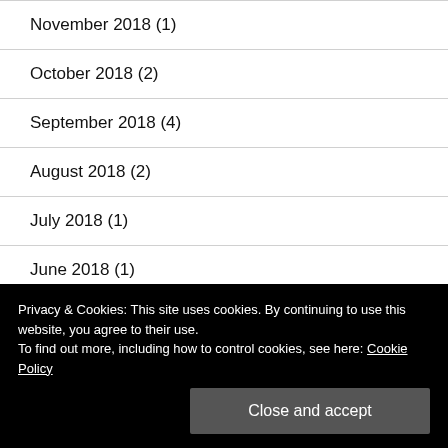November 2018 (1)
October 2018 (2)
September 2018 (4)
August 2018 (2)
July 2018 (1)
June 2018 (1)
May 2018 (3)
April 2018 (3)
Privacy & Cookies: This site uses cookies. By continuing to use this website, you agree to their use.
To find out more, including how to control cookies, see here: Cookie Policy
Close and accept